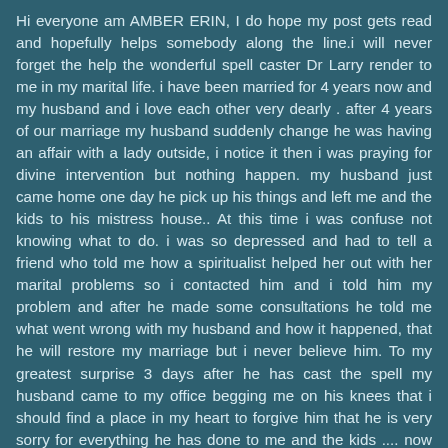Hi everyone am AMBER ERIN, I do hope my post gets read and hopefully helps somebody along the line.i will never forget the help the wonderful spell caster Dr Larry render to me in my marital life. i have been married for 4 years now and my husband and i love each other very dearly . after 4 years of our marriage my husband suddenly change he was having an affair with a lady outside, i notice it then i was praying for divine intervention but nothing happen. my husband just came home one day he pick up his things and left me and the kids to his mistress house.. At this time i was confuse not knowing what to do. i was so depressed and had to tell a friend who told me how a spiritualist helped her out with her marital problems so i contacted him and i told him my problem and after he made some consultations he told me what went wrong with my husband and how it happened, that he will restore my marriage but i never believe him. To my greatest surprise 3 days after he has cast the spell my husband came to my office begging me on his knees that i should find a place in my heart to forgive him that he is very sorry for everything he has done to me and the kids .... now am happy we living happily with my husband and kids...thanks to the help of the great